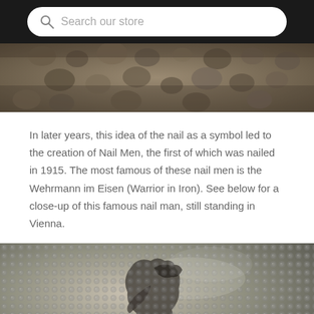Search our store
[Figure (photo): Close-up photo of a nail-studded wooden surface, showing rounded nail heads embedded in dark wood, partially visible at top of page]
In later years, this idea of the nail as a symbol led to the creation of Nail Men, the first of which was nailed in 1915. The most famous of these nail men is the Wehrmann im Eisen (Warrior in Iron). See below for a close-up of this famous nail man, still standing in Vienna.
[Figure (photo): Close-up photograph of the Wehrmann im Eisen (Warrior in Iron) nail man in Vienna, showing a figure covered densely with metal nails hammered into wood, with a chat bubble overlay in the lower right corner]